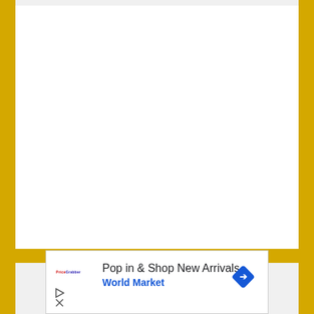[Figure (other): Web page screenshot with gold/yellow vertical border bars on left and right, large white content area (blank/empty), and a bottom yellow band. Contains an advertisement box at the bottom with text 'Pop in & Shop New Arrivals' and 'World Market' with a blue navigation arrow icon, a small red/blue logo, play button icon, and close icon.]